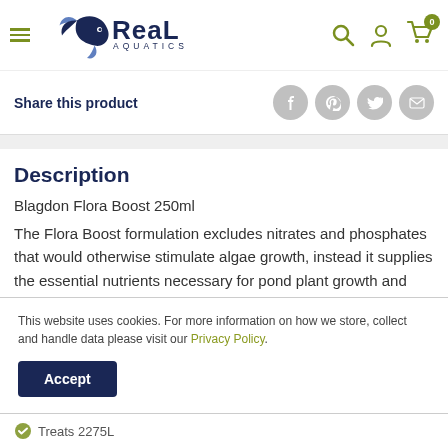Real Aquatics — navigation header with logo, hamburger menu, search, account, and cart icons
Share this product
Blagdon Flora Boost 250ml
Description
Blagdon Flora Boost 250ml
The Flora Boost formulation excludes nitrates and phosphates that would otherwise stimulate algae growth, instead it supplies the essential nutrients necessary for pond plant growth and encourages
This website uses cookies. For more information on how we store, collect and handle data please visit our Privacy Policy.
Accept
Treats 2275L